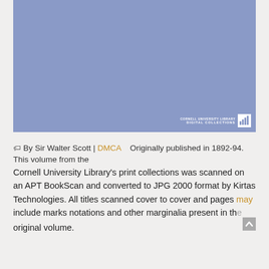[Figure (illustration): Solid periwinkle/cornflower blue rectangle representing a book cover image with Cornell University Library Digital Collections logo in bottom-right corner]
By Sir Walter Scott | DMCA   Originally published in 1892-94. This volume from the Cornell University Library's print collections was scanned on an APT BookScan and converted to JPG 2000 format by Kirtas Technologies. All titles scanned cover to cover and pages may include marks notations and other marginalia present in the original volume.